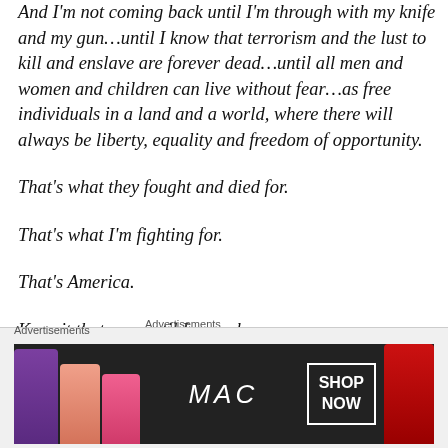And I'm not coming back until I'm through with my knife and my gun…until I know that terrorism and the lust to kill and enslave are forever dead…until all men and women and children can live without fear…as free individuals in a land and a world, where there will always be liberty, equality and freedom of opportunity.

That's what they fought and died for.

That's what I'm fighting for.

That's America.

Keep it that way until I come home.
Advertisements
[Figure (other): MAC cosmetics advertisement banner with lipsticks in purple, pink, and red colors, MAC logo, and SHOP NOW button]